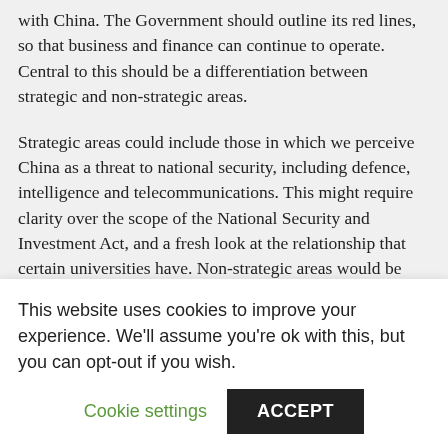with China. The Government should outline its red lines, so that business and finance can continue to operate. Central to this should be a differentiation between strategic and non-strategic areas.
Strategic areas could include those in which we perceive China as a threat to national security, including defence, intelligence and telecommunications. This might require clarity over the scope of the National Security and Investment Act, and a fresh look at the relationship that certain universities have. Non-strategic areas would be those parts of the economy in which firms and the City can interact and compete with China, freed from politics.
China is also viewed as being ahead of the race towards
This website uses cookies to improve your experience. We'll assume you're ok with this, but you can opt-out if you wish.
Cookie settings
ACCEPT